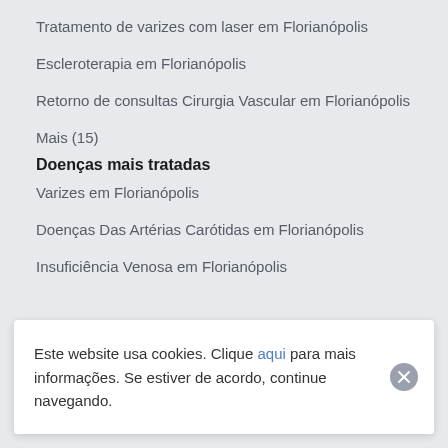Tratamento de varizes com laser em Florianópolis
Escleroterapia em Florianópolis
Retorno de consultas Cirurgia Vascular em Florianópolis
Mais (15)
Doenças mais tratadas
Varizes em Florianópolis
Doenças Das Artérias Carótidas em Florianópolis
Insuficiência Venosa em Florianópolis
Este website usa cookies. Clique aqui para mais informações. Se estiver de acordo, continue navegando.